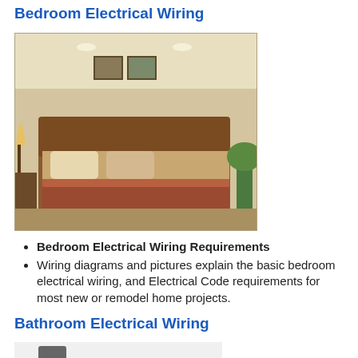Bedroom Electrical Wiring
[Figure (photo): Photo of a bedroom interior with bed, lamps, wall art, and warm lighting]
Bedroom Electrical Wiring Requirements
Wiring diagrams and pictures explain the basic bedroom electrical wiring, and Electrical Code requirements for most new or remodel home projects.
Bathroom Electrical Wiring
[Figure (photo): Photo of a bathroom exhaust fan/ventilation unit]
Bathroom Electrical Wiring Requirements
Wiring diagrams and pictures explain basic bathroom electrical wiring, and electrical code requirements for most new or remodel projects. Give your bathroom a face lift when you enhance the electrical devices that will bring out the best in